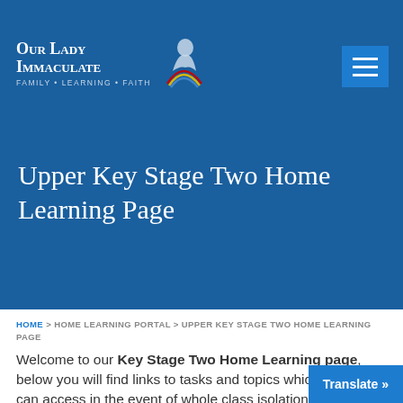Our Lady Immaculate — Family · Learning · Faith
Upper Key Stage Two Home Learning Page
HOME > HOME LEARNING PORTAL > UPPER KEY STAGE TWO HOME LEARNING PAGE
Welcome to our Key Stage Two Home Learning page, below you will find links to tasks and topics which children can access in the event of whole class isolation or lockdown. These activities will supplement work set by the teacher and be provide